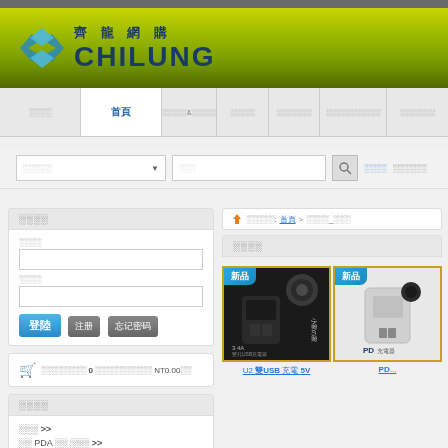[Figure (logo): ChiLung 齊龍網購 e-commerce website logo on green gradient banner]
齊龍網購 CHILUNG
首頁 | 手機類&配件 | 平板電腦 | 電腦周邊 | 電視/音響/攝影 | 生活家電
搜尋類別 ▼  搜尋  🔍 進階搜尋  購物車結帳
會員登入
帳號 [input] 密碼 [input] 登陸 注册 忘记密码
🛒 目前購物車內 0 件商品，合計 NT0.00元
商品類別
全部 >>
筆記 PDA 手寫板 >>
現在位置: 首頁 > 手機充電_充電器
商品列表
[Figure (photo): Product image: U2 雙USB 充電 5V charger with 新品 badge and yellow border]
U2 雙USB 充電 5V
[Figure (photo): Product image: PD charger with 新品 badge and yellow border]
PD...